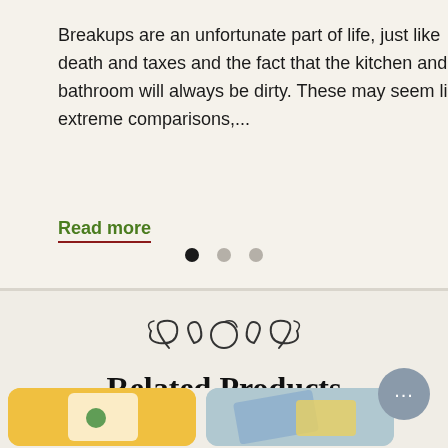Breakups are an unfortunate part of life, just like death and taxes and the fact that the kitchen and bathroom will always be dirty. These may seem like extreme comparisons,...
Read more
[Figure (other): Carousel navigation dots: three dots, first one active (dark), two inactive (grey)]
[Figure (illustration): Decorative ornamental swirl divider]
Related Products
[Figure (photo): Two product thumbnail images at the bottom: left shows yellow/orange product with white and green elements, right shows blue/grey product]
[Figure (other): Chat button bubble with ellipsis (...)]